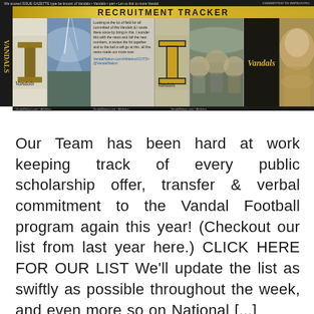[Figure (screenshot): University of Idaho Vandals Recruitment Tracker banner image with multiple panels showing Vandals logos, team photos, player images, and text blocks. Header says 'Recruitment Tracker' in bold gold/black text.]
Our Team has been hard at work keeping track of every public scholarship offer, transfer & verbal commitment to the Vandal Football program again this year! (Checkout our list from last year here.) CLICK HERE FOR OUR LIST We'll update the list as swiftly as possible throughout the week, and even more so on National [...]